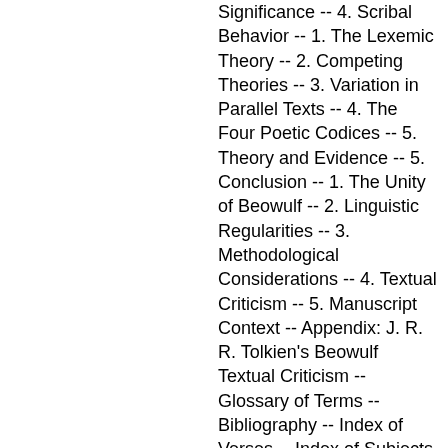Significance -- 4. Scribal Behavior -- 1. The Lexemic Theory -- 2. Competing Theories -- 3. Variation in Parallel Texts -- 4. The Four Poetic Codices -- 5. Theory and Evidence -- 5. Conclusion -- 1. The Unity of Beowulf -- 2. Linguistic Regularities -- 3. Methodological Considerations -- 4. Textual Criticism -- 5. Manuscript Context -- Appendix: J. R. R. Tolkien's Beowulf Textual Criticism -- Glossary of Terms -- Bibliography -- Index of Verses -- Index of Subjects
Beowulf, like The Iliad and The Odyssey, is a foundational work of Western literature that originated in mysterious circumstances. In The Transmission of "Beowulf," Leonard Neidorf addresses philological questions that are fundamental to the study of the poem
Description based on publisher supplied metadata and other sources
Electronic reproduction. Ann Arbor, Michigan : ProQuest Ebook Central